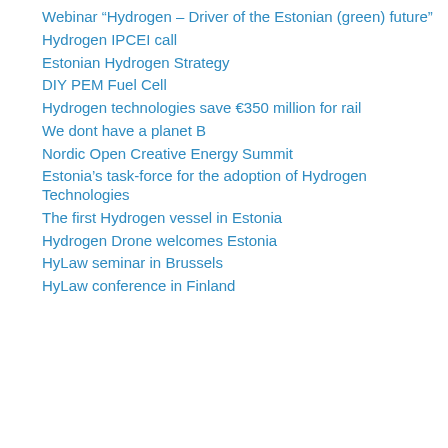Webinar “Hydrogen – Driver of the Estonian (green) future”
Hydrogen IPCEI call
Estonian Hydrogen Strategy
DIY PEM Fuel Cell
Hydrogen technologies save €350 million for rail
We dont have a planet B
Nordic Open Creative Energy Summit
Estonia’s task-force for the adoption of Hydrogen Technologies
The first Hydrogen vessel in Estonia
Hydrogen Drone welcomes Estonia
HyLaw seminar in Brussels
HyLaw conference in Finland